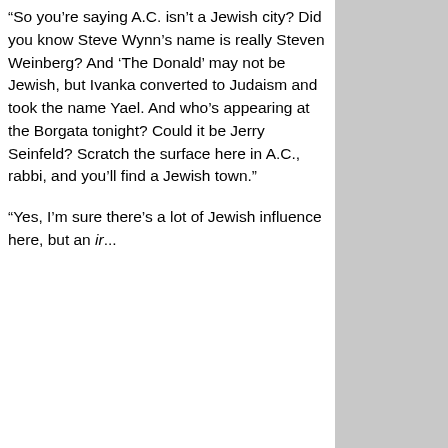“So you’re saying A.C. isn’t a Jewish city? Did you know Steve Wynn’s name is really Steven Weinberg? And ‘The Donald’ may not be Jewish, but Ivanka converted to Judaism and took the name Yael. And who’s appearing at the Borgata tonight? Could it be Jerry Seinfeld? Scratch the surface here in A.C., rabbi, and you’ll find a Jewish town.”
“Yes, I’m sure there’s a lot of Jewish influence here, but an ir...